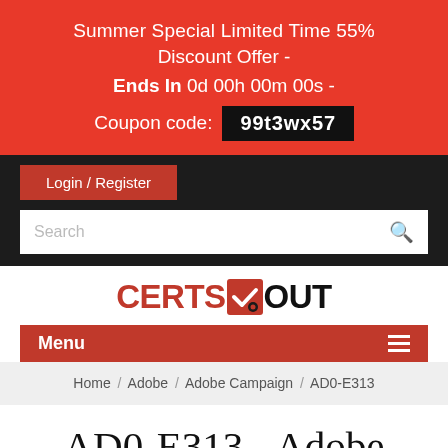Summer Special Limited Time 55% Discount Offer - Ends In 0d 00h 00m 00s - Coupon code: 99t3wx57
Login / Register
Search
[Figure (logo): CertsOut logo with red text CERTS, a checkmark icon, and black text OUT]
Menu
Home / Adobe / Adobe Campaign / AD0-E313
AD0-E313 - Adobe Campaign Classic